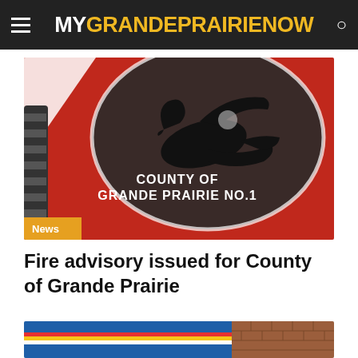MY GRANDE PRAIRIE NOW
[Figure (photo): Red circular vehicle door or tank with a black silhouette of a flying goose and text reading COUNTY OF GRANDE PRAIRIE NO.1. A News badge is overlaid at the bottom left.]
Fire advisory issued for County of Grande Prairie
[Figure (photo): Partial view of a blue building facade with coloured horizontal stripes (blue, red, yellow, white) and brick wall visible on the right.]